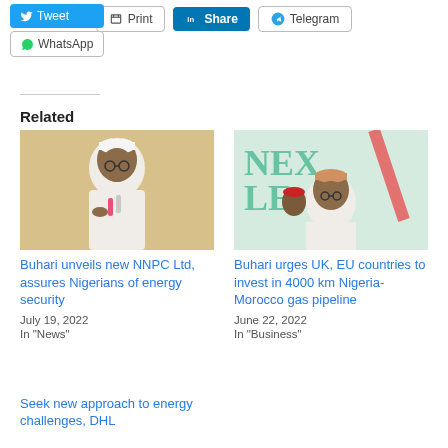[Figure (screenshot): Social sharing buttons: Tweet, Print, Share (LinkedIn), Telegram, WhatsApp]
Related
[Figure (photo): Photo of Buhari speaking at a podium with microphones]
[Figure (photo): Photo of Buhari at Next Level event backdrop]
Buhari unveils new NNPC Ltd, assures Nigerians of energy security
July 19, 2022
In "News"
Buhari urges UK, EU countries to invest in 4000 km Nigeria-Morocco gas pipeline
June 22, 2022
In "Business"
Seek new approach to energy challenges, DHL